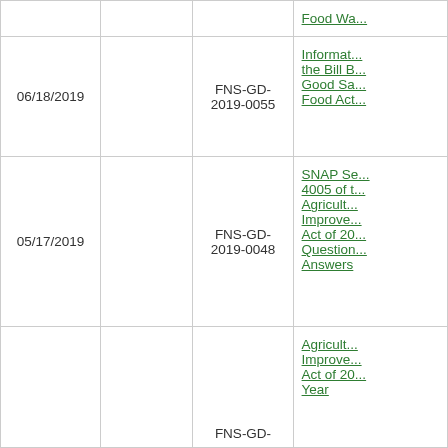| Date |  | Document ID | Title |
| --- | --- | --- | --- |
|  |  |  | Food Wa... |
| 06/18/2019 |  | FNS-GD-2019-0055 | Information the Bill B... Good Sa... Food Act... |
| 05/17/2019 |  | FNS-GD-2019-0048 | SNAP Se... 4005 of t... Agricult... Improve... Act of 20... Question... Answers |
|  |  | FNS-GD- | Agricult... Improve... Act of 20... Year |